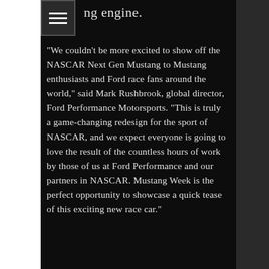ng engine.
“We couldn’t be more excited to show off the NASCAR Next Gen Mustang to Mustang enthusiasts and Ford race fans around the world,” said Mark Rushbrook, global director, Ford Performance Motorsports. “This is truly a game-changing redesign for the sport of NASCAR, and we expect everyone is going to love the result of the countless hours of work by those of us at Ford Performance and our partners in NASCAR. Mustang Week is the perfect opportunity to showcase a quick tease of this exciting new race car.”